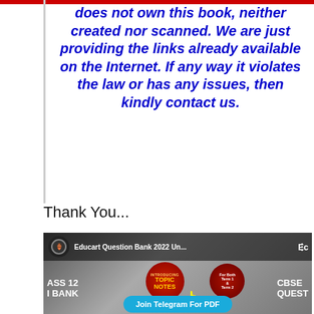does not own this book, neither created nor scanned. We are just providing the links already available on the Internet. If any way it violates the law or has any issues, then kindly contact us.
Thank You...
[Figure (screenshot): YouTube video thumbnail for 'Educart Question Bank 2022 Un...' showing TOPIC NOTES badge, Class 12 Question Bank, CBSE, and a 'Join Telegram For PDF' button overlay]